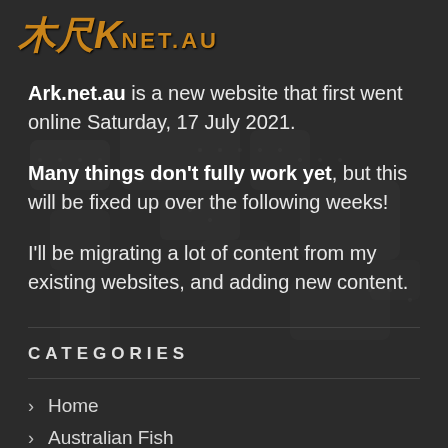ARK net.au
Ark.net.au is a new website that first went online Saturday, 17 July 2021.
Many things don't fully work yet, but this will be fixed up over the following weeks!
I'll be migrating a lot of content from my existing websites, and adding new content.
CATEGORIES
Home
Australian Fish